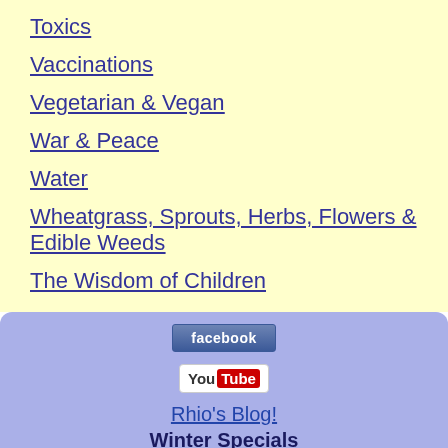Toxics
Vaccinations
Vegetarian & Vegan
War & Peace
Water
Wheatgrass, Sprouts, Herbs, Flowers & Edible Weeds
The Wisdom of Children
[Figure (logo): Facebook button logo]
[Figure (logo): YouTube button logo]
Rhio's Blog!
Winter Specials
FREE DVD of "What's Not Cookin' in Rhio's Kitchen", when you purchase a copy of Rhio's classic book Hooked on Raw for $29.95 Click Here To Purchase